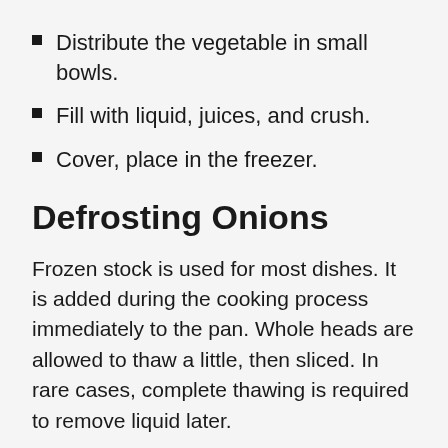Distribute the vegetable in small bowls.
Fill with liquid, juices, and crush.
Cover, place in the freezer.
Defrosting Onions
Frozen stock is used for most dishes. It is added during the cooking process immediately to the pan. Whole heads are allowed to thaw a little, then sliced. In rare cases, complete thawing is required to remove liquid later.